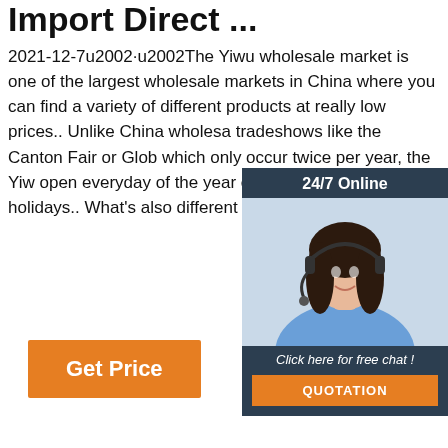Import Direct ...
2021-12-7u2002·u2002The Yiwu wholesale market is one of the largest wholesale markets in China where you can find a variety of different products at really low prices.. Unlike China wholesale tradeshows like the Canton Fair or Glob which only occur twice per year, the Yiw open everyday of the year except for ce Chinese holidays.. What's also different Yiwu marketplace is ...
[Figure (infographic): Customer service chat widget with '24/7 Online' header, photo of woman with headset, 'Click here for free chat!' text, and orange QUOTATION button]
[Figure (infographic): Orange 'Get Price' button]
[Figure (illustration): Orange 'TOP' icon with dots arranged in triangle shape above text]